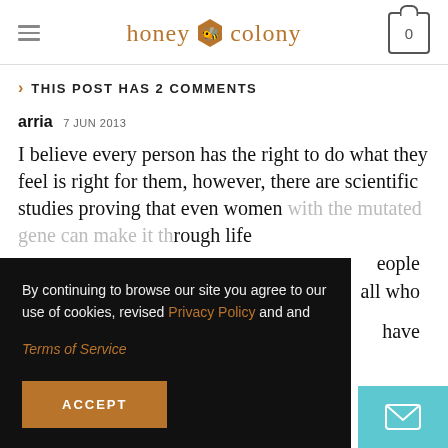honey colony
> THIS POST HAS 2 COMMENTS
arria 7 JUN 2013
I believe every person has the right to do what they feel is right for them, however, there are scientific studies proving that even women with the mutated gene can make it through life ...eople ...all who ...have
By continuing to browse our site you agree to our use of cookies, revised Privacy Policy and Terms of Service
ACCEPT